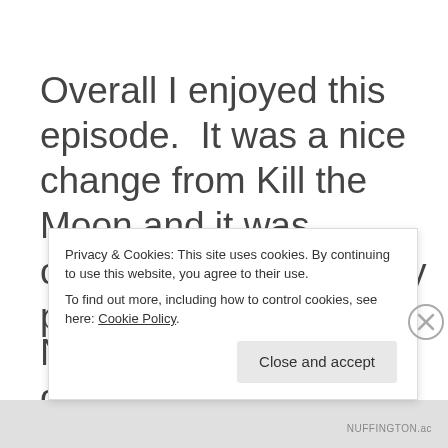Overall I enjoyed this episode.  It was a nice change from Kill the Moon and it was certainly better from my perspective.
Next week looks different, not sure
Privacy & Cookies: This site uses cookies. By continuing to use this website, you agree to their use.
To find out more, including how to control cookies, see here: Cookie Policy
Close and accept